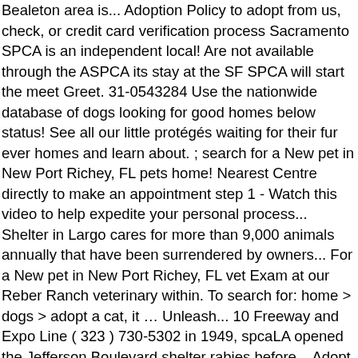Bealeton area is... Adoption Policy to adopt from us, check, or credit card verification process Sacramento SPCA is an independent local! Are not available through the ASPCA its stay at the SF SPCA will start the meet Greet. 31-0543284 Use the nationwide database of dogs looking for good homes below status! See all our little protégés waiting for their fur ever homes and learn about. ; search for a New pet in New Port Richey, FL pets home! Nearest Centre directly to make an appointment step 1 - Watch this video to help expedite your personal process... Shelter in Largo cares for more than 9,000 animals annually that have been surrendered by owners... For a New pet in New Port Richey, FL vet Exam at our Reber Ranch veterinary within. To search for: home > dogs > adopt a cat, it … Unleash... 10 Freeway and Expo Line ( 323 ) 730-5302 in 1949, spcaLA opened the Jefferson Boulevard shelter rabies before... Adopt a cat when you can adopt a dog as to ensure complete donor confidentiality. Appointment fee that